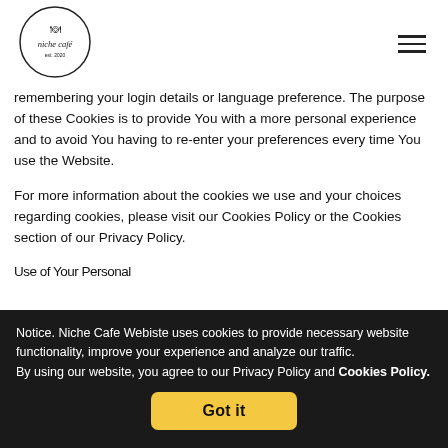[Figure (logo): Niche Café circular logo with utensils icon, est. 2020]
remembering your login details or language preference. The purpose of these Cookies is to provide You with a more personal experience and to avoid You having to re-enter your preferences every time You use the Website.
For more information about the cookies we use and your choices regarding cookies, please visit our Cookies Policy or the Cookies section of our Privacy Policy.
Use of Your Personal
Notice. Niche Cafe Webiste uses cookies to provide necessary website functionality, improve your experience and analyze our traffic. By using our website, you agree to our Privacy Policy and Cookies Policy.
Got it